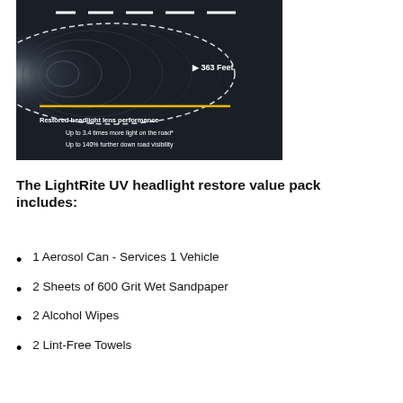[Figure (infographic): Dark infographic showing headlight beam coverage. A dashed oval outline shows the restored headlight lens beam reaching 363 Feet. A bright white glow is on the left side. A yellow horizontal line indicates the road surface. Text reads: 'Restored headlight lens performance', 'Up to 3.4 times more light on the road*', 'Up to 140% further down road visibility'. White dashes above represent a road lane.]
The LightRite UV headlight restore value pack includes:
1 Aerosol Can - Services 1 Vehicle
2 Sheets of 600 Grit Wet Sandpaper
2 Alcohol Wipes
2 Lint-Free Towels